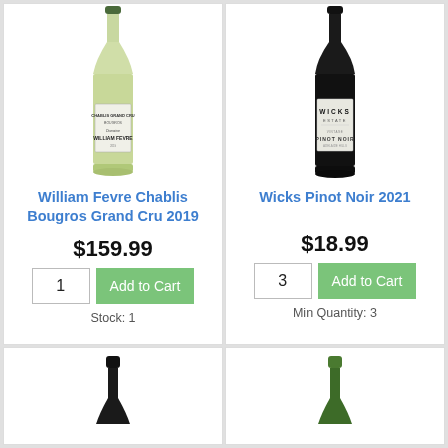[Figure (photo): Wine bottle: William Fevre Chablis Bougros Grand Cru 2019, white wine, light green bottle with white label]
William Fevre Chablis Bougros Grand Cru 2019
$159.99
1 | Add to Cart
Stock: 1
[Figure (photo): Wine bottle: Wicks Pinot Noir 2021, dark red wine, dark bottle with white label reading WICKS ESTATE PINOT NOIR]
Wicks Pinot Noir 2021
$18.99
3 | Add to Cart
Min Quantity: 3
[Figure (photo): Partial view of a wine bottle neck with black capsule, bottom card left]
[Figure (photo): Partial view of a wine bottle neck with green capsule, bottom card right]